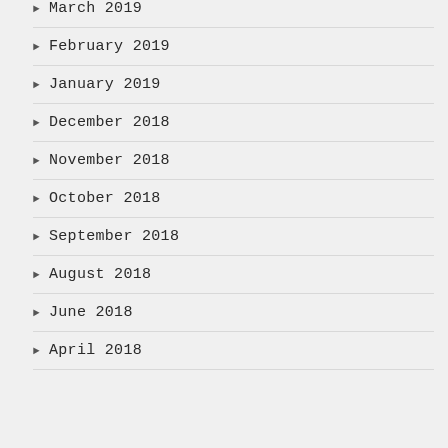March 2019
February 2019
January 2019
December 2018
November 2018
October 2018
September 2018
August 2018
June 2018
April 2018